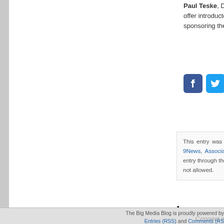Paul Teske, Dean of University of Colorado Denver's ... offer introductory remarks. The University of Colorado'... sponsoring the event, along with BigMedia.org and Com...
[Figure (other): Row of social sharing icon buttons: Facebook (blue), Twitter (blue), LinkedIn (blue), Email (gray), Share (green), Pinterest (red)]
This entry was posted on Saturday, November 8th, 2014 a... 7News, 9News, Associated Press, News 4, Newspaper i... responses to this entry through the RSS 2.0 feed. You car... response. Pinging is currently not allowed.
Leave a Reply
Connect with your Facebook Account
You must be logged in to post a comment.
The Big Media Blog is proudly powered by ... Entries (RSS) and Comments (RS...